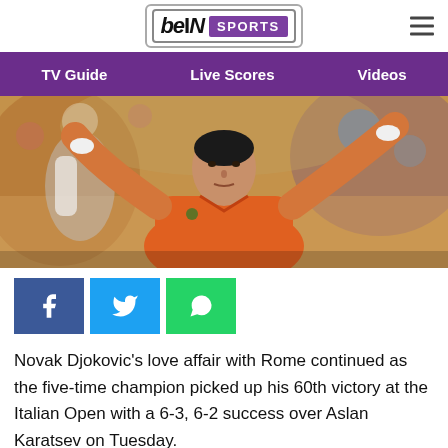[Figure (logo): beIN SPORTS logo in a rounded rectangle border, with 'beIN' in italic bold dark text and 'SPORTS' in white on purple background. Hamburger menu icon top right.]
TV Guide   Live Scores   Videos
[Figure (photo): Novak Djokovic wearing an orange shirt, arms raised in celebration on a clay court tennis match, crowd in background.]
[Figure (infographic): Social share buttons: Facebook (dark blue with f icon), Twitter (light blue with bird icon), WhatsApp (green with phone icon).]
Novak Djokovic's love affair with Rome continued as the five-time champion picked up his 60th victory at the Italian Open with a 6-3, 6-2 success over Aslan Karatsev on Tuesday.